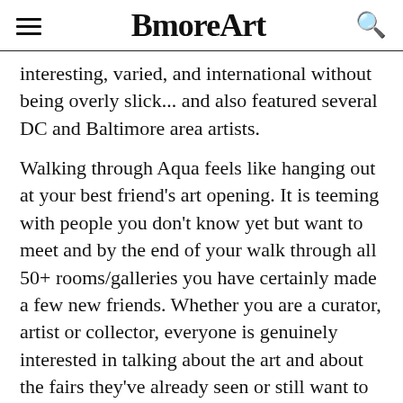BmoreArt
interesting, varied, and international without being overly slick... and also featured several DC and Baltimore area artists.
Walking through Aqua feels like hanging out at your best friend's art opening. It is teeming with people you don't know yet but want to meet and by the end of your walk through all 50+ rooms/galleries you have certainly made a few new friends. Whether you are a curator, artist or collector, everyone is genuinely interested in talking about the art and about the fairs they've already seen or still want to see.
The center courtyard offers cocktail bars and a Gelato stand along with lounging spots where you